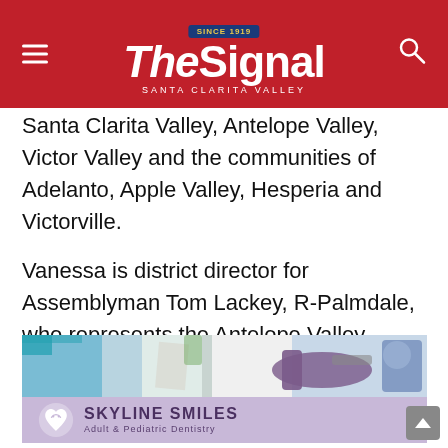The Signal - Santa Clarita Valley
Santa Clarita Valley, Antelope Valley, Victor Valley and the communities of Adelanto, Apple Valley, Hesperia and Victorville.
Vanessa is district director for Assemblyman Tom Lackey, R-Palmdale, who represents the Antelope Valley, Acton and parts of Kern and San Bernardino counties.
[Figure (photo): Advertisement for Skyline Smiles Adult & Pediatric Dentistry showing a dental office interior with a dental chair and the Skyline Smiles logo on a purple/lavender background]